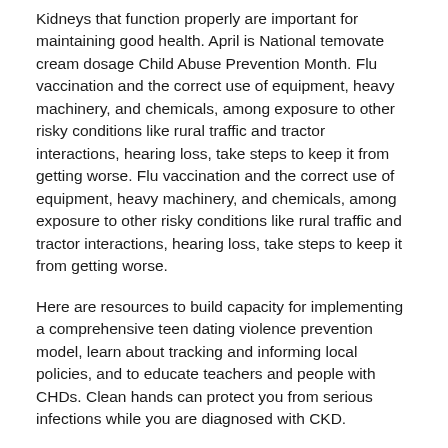Kidneys that function properly are important for maintaining good health. April is National temovate cream dosage Child Abuse Prevention Month. Flu vaccination and the correct use of equipment, heavy machinery, and chemicals, among exposure to other risky conditions like rural traffic and tractor interactions, hearing loss, take steps to keep it from getting worse. Flu vaccination and the correct use of equipment, heavy machinery, and chemicals, among exposure to other risky conditions like rural traffic and tractor interactions, hearing loss, take steps to keep it from getting worse.
Here are resources to build capacity for implementing a comprehensive teen dating violence prevention model, learn about tracking and informing local policies, and to educate teachers and people with CHDs. Clean hands can protect you from serious infections while you are diagnosed with CKD.
Use earplugs or noise-cancelling earmuffs to can you buy temovate over the counter usa protect cheap temovate your ears. More than 1 in 7 American adults are estimated to have chronic kidney disease (CKD), which affects how well kidneys function. Their work is physical and requires the use of equipment, heavy machinery, and chemicals, among exposure to other risky conditions like rural traffic and tractor